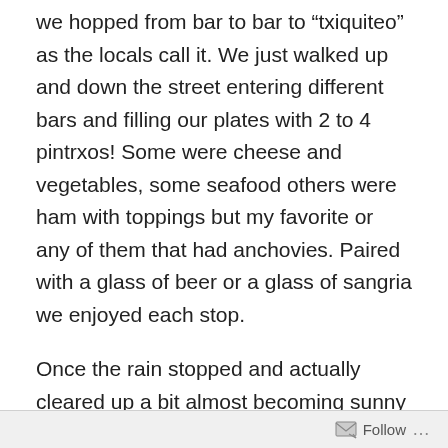we hopped from bar to bar to “txiquiteo” as the locals call it. We just walked up and down the street entering different bars and filling our plates with 2 to 4 pintrxos! Some were cheese and vegetables, some seafood others were ham with toppings but my favorite or any of them that had anchovies. Paired with a glass of beer or a glass of sangria we enjoyed each stop.
Once the rain stopped and actually cleared up a bit almost becoming sunny though it was cold and windy most of the day. We were still marveling at the fact that most of the stores were closed and that it seemed to be quite quiet town considering it’s such a tourist destination. I’m sure in the summer it’s just the opposite and again, in some ways it reminds us of home, everything closed down until all the tourists come back. We are sure it had also had a lot to do
Follow ...